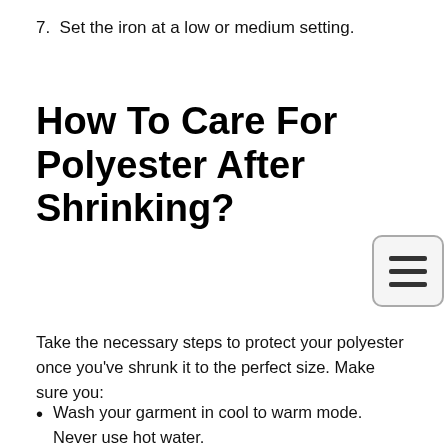7.  Set the iron at a low or medium setting.
How To Care For Polyester After Shrinking?
Take the necessary steps to protect your polyester once you've shrunk it to the perfect size. Make sure you:
Wash your garment in cool to warm mode. Never use hot water.